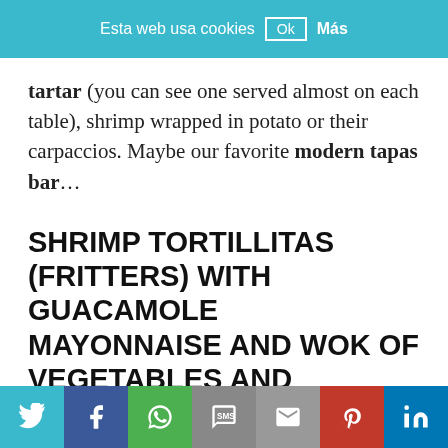Esta web usa cookies  Ok  Más
tartar (you can see one served almost on each table), shrimp wrapped in potato or their carpaccios. Maybe our favorite modern tapas bar...
SHRIMP TORTILLITAS (FRITTERS) WITH GUACAMOLE MAYONNAISE AND WOK OF VEGETABLES AND PRAWNS
Twitter Facebook WhatsApp SMS Email Pinterest LinkedIn